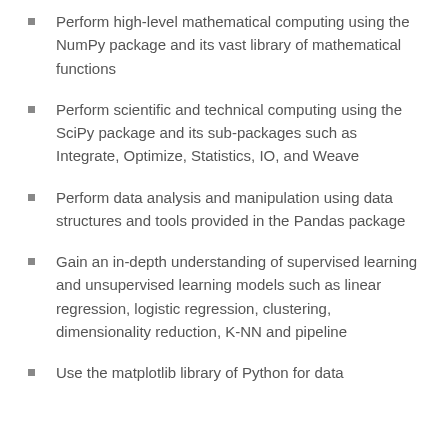Perform high-level mathematical computing using the NumPy package and its vast library of mathematical functions
Perform scientific and technical computing using the SciPy package and its sub-packages such as Integrate, Optimize, Statistics, IO, and Weave
Perform data analysis and manipulation using data structures and tools provided in the Pandas package
Gain an in-depth understanding of supervised learning and unsupervised learning models such as linear regression, logistic regression, clustering, dimensionality reduction, K-NN and pipeline
Use the matplotlib library of Python for data